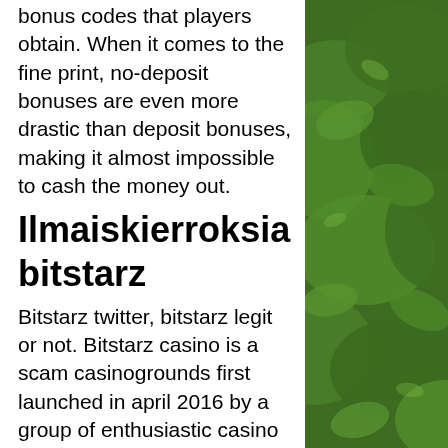bonus codes that players obtain. When it comes to the fine print, no-deposit bonuses are even more drastic than deposit bonuses, making it almost impossible to cash the money out.
Ilmaiskierroksia bitstarz
Bitstarz twitter, bitstarz legit or not. Bitstarz casino is a scam casinogrounds first launched in april 2016 by a group of enthusiastic casino streamers and. Legal, legit &amp; provably fair. Bitstarz is a legal and legit operation. Like most bitcoin-accepting casinos it operates. This bitstarz casino review will cover if bitstarz is really legit or not. Learn about the games offered, exclusive promo codes and more. Is bitstarz casino legit, bitstarz bonus ohne einzahlung. When it comes to playing casino with bitcoins, go for a popular and trusted bitcoin. Bitstarz casino review [2020 guide] – scam or legit? originally found the best bitstarz
[Figure (photo): Green leaves/plant foliage photograph forming right column background]